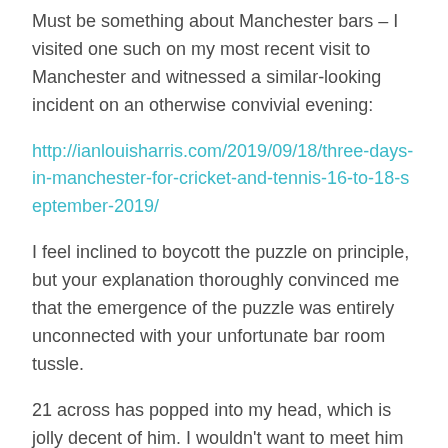Must be something about Manchester bars – I visited one such on my most recent visit to Manchester and witnessed a similar-looking incident on an otherwise convivial evening:
http://ianlouisharris.com/2019/09/18/three-days-in-manchester-for-cricket-and-tennis-16-to-18-september-2019/
I feel inclined to boycott the puzzle on principle, but your explanation thoroughly convinced me that the emergence of the puzzle was entirely unconnected with your unfortunate bar room tussle.
21 across has popped into my head, which is jolly decent of him. I wouldn't want to meet him in a bar